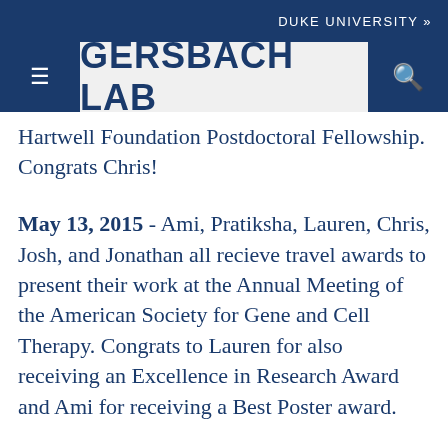DUKE UNIVERSITY »
[Figure (logo): Gersbach Lab navigation bar with hamburger menu icon, GERSBACH LAB title, and search icon on dark blue background]
Hartwell Foundation Postdoctoral Fellowship. Congrats Chris!
May 13, 2015 - Ami, Pratiksha, Lauren, Chris, Josh, and Jonathan all recieve travel awards to present their work at the Annual Meeting of the American Society for Gene and Cell Therapy. Congrats to Lauren for also receiving an Excellence in Research Award and Ami for receiving a Best Poster award.